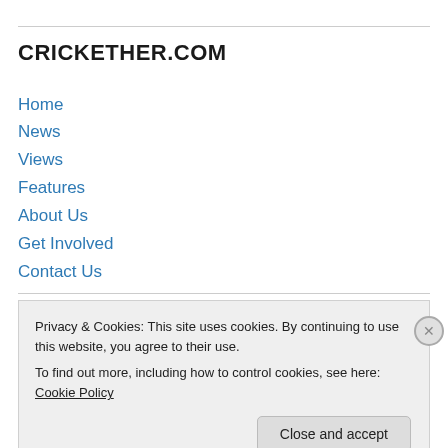CRICKETHER.COM
Home
News
Views
Features
About Us
Get Involved
Contact Us
Subscribe to CRICKETher.com
Privacy & Cookies: This site uses cookies. By continuing to use this website, you agree to their use.
To find out more, including how to control cookies, see here: Cookie Policy